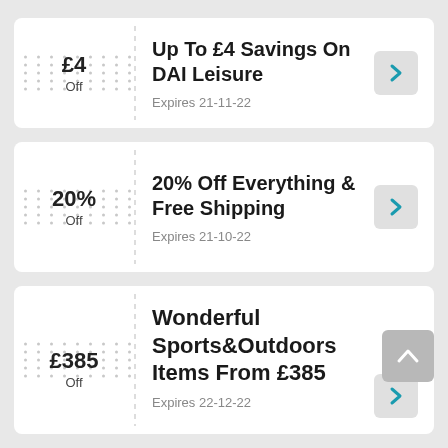£4 Off
Up To £4 Savings On DAI Leisure
Expires 21-11-22
20% Off
20% Off Everything & Free Shipping
Expires 21-10-22
£385 Off
Wonderful Sports&Outdoors Items From £385
Expires 22-12-22